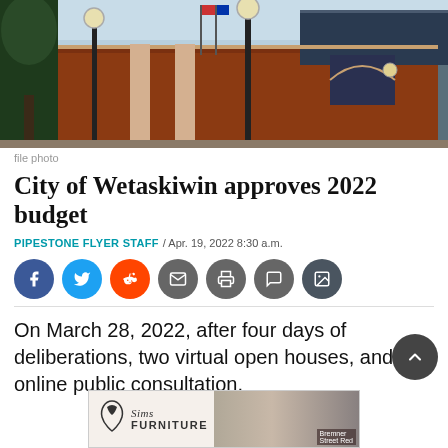[Figure (photo): Exterior photo of Wetaskiwin City Hall, a red brick building with stone columns, arched window, and decorative lamp posts. Trees visible on the left side.]
file photo
City of Wetaskiwin approves 2022 budget
PIPESTONE FLYER STAFF / Apr. 19, 2022 8:30 a.m.
[Figure (infographic): Social share buttons: Facebook (blue), Twitter (light blue), Reddit (orange), Email (grey), Print (grey), Comment (grey), Gallery (dark grey)]
On March 28, 2022, after four days of deliberations, two virtual open houses, and an online public consultation,
[Figure (photo): Advertisement for Sims Furniture showing logo and a photo of people on a couch. Text reads Bremner Street Red.]